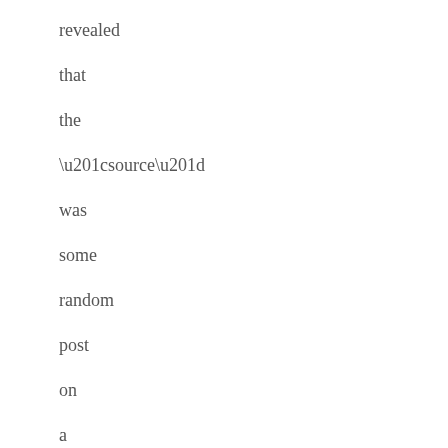revealed that the “source” was some random post on a forum. The “one unverified idiot on forum” morphed into “Muslim community” in 60s flat